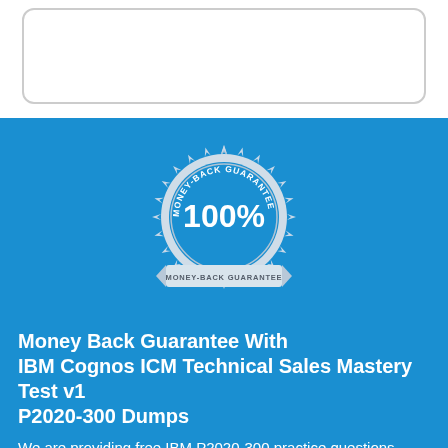[Figure (illustration): Money-Back Guarantee seal badge with '100%' in center and ribbon below reading 'MONEY-BACK GUARANTEE']
Money Back Guarantee With IBM Cognos ICM Technical Sales Mastery Test v1 P2020-300 Dumps
We are providing free IBM P2020-300 practice questions answers that show the quality of our P2020-300 exam dumps. We ensure you that Exam4Lead is one of the most reliable website for IBM P2020-300 exam preparation. Feel free and download our P2020-300 dumps and pass your exam with full confidence.